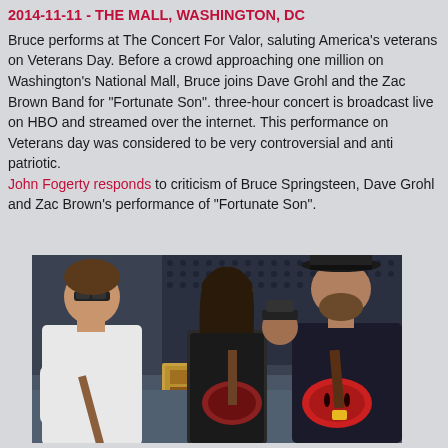2014-11-11 - THE MALL, WASHINGTON, DC
Bruce performs at The Concert For Valor, saluting America's veterans on Veterans Day. Before a crowd approaching one million on Washington's National Mall, Bruce joins Dave Grohl and the Zac Brown Band for "Fortunate Son". three-hour concert is broadcast live on HBO and streamed over the internet. This performance on Veterans day was considered to be very controversial and anti patriotic. John Fogerty responds to criticism of Bruce Springsteen, Dave Grohl and Zac Brown's performance of "Fortunate Son".
[Figure (photo): Three musicians standing together, two holding guitars. Left: man in white sleeveless shirt with sunglasses. Center: man with long hair in dark t-shirt. Right: man with beard wearing a dark hat and jacket, holding a red semi-hollow guitar. Background shows speaker stacks and guitar amplifiers.]